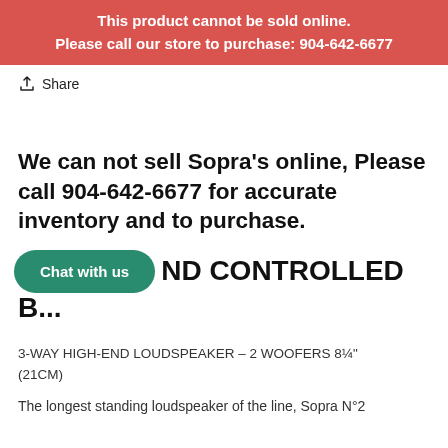This product cannot be sold online. Please call our store to purchase: 904-642-6677
Share
We can not sell Sopra's online, Please call 904-642-6677 for accurate inventory and to purchase.
[Figure (other): Chat with us green button overlay]
ND CONTROLLED B...
3-WAY HIGH-END LOUDSPEAKER – 2 WOOFERS 8¼" (21CM)
The longest standing loudspeaker of the line, Sopra N°2